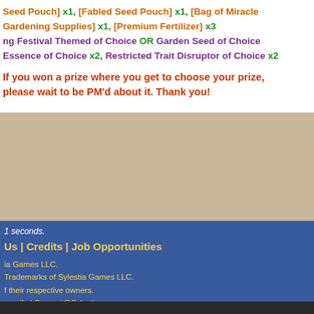Seed Pouch] x1, [Fabled Seed Pouch] x1, [Bag of Miracle Gardening Supplies] x1, [Premium Fertilizer] x3
ng Festival Themed of Choice OR Garden Seed of Choice
Essence of Choice x2, Restricted Trait Disruptor of Choice x2
If you won a prize where you get to choose your prize, please wait to be PM'd about it. Thank you!
Go to Top
1 seconds.
Us | Credits | Job Opportunities
ia Games LLC.
Trademarks of Sylestia Games LLC.
f their respective owners.
email at Support@Sylestia.com.